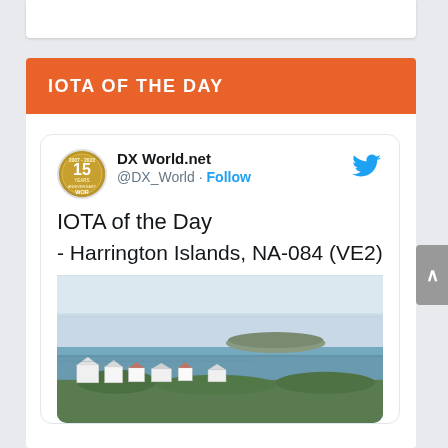IOTA OF THE DAY
[Figure (screenshot): Tweet card from DX World.net (@DX_World) with Follow button and Twitter bird icon. Text reads 'IOTA of the Day - Harrington Islands, NA-084 (VE2)' with a landscape photo of white houses near water with an island in the background.]